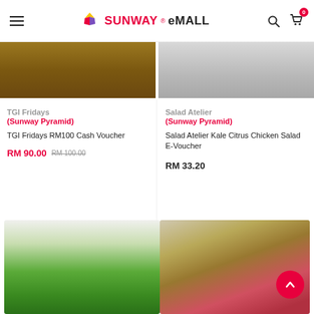Sunway eMALL
[Figure (photo): Partial top image - TGI Fridays wooden table surface]
[Figure (photo): Partial top image - Salad Atelier food on grey surface]
TGI Fridays
(Sunway Pyramid)
TGI Fridays RM100 Cash Voucher
RM 90.00   RM 100.00
Salad Atelier
(Sunway Pyramid)
Salad Atelier Kale Citrus Chicken Salad E-Voucher
RM 33.20
[Figure (photo): Bottom left product image - salad bowl with green leaves and cucumber]
[Figure (photo): Bottom right product image - bowl with chicken salad, pomegranate seeds and herbs]